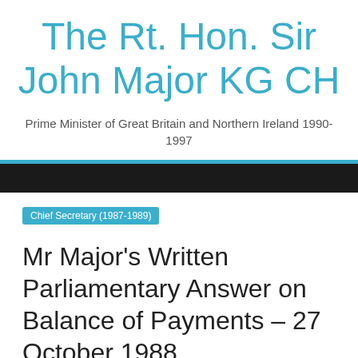The Rt. Hon. Sir John Major KG CH
Prime Minister of Great Britain and Northern Ireland 1990-1997
Chief Secretary (1987-1989)
Mr Major's Written Parliamentary Answer on Balance of Payments – 27 October 1988